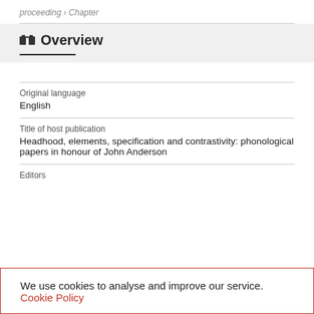proceeding › Chapter
Overview
Original language
English
Title of host publication
Headhood, elements, specification and contrastivity: phonological papers in honour of John Anderson
Editors
We use cookies to analyse and improve our service. Cookie Policy